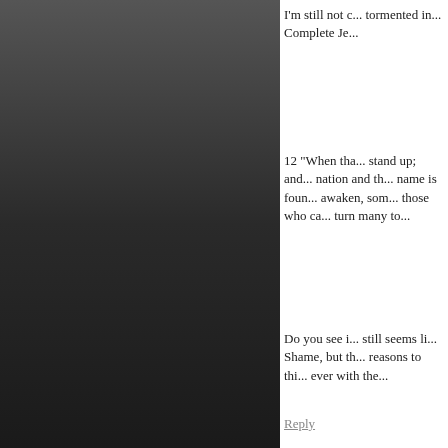I'm still not c... tormented in... Complete Je...
12 “When tha... stand up; and... nation and th... name is foun... awaken, som... those who ca... turn many to...
Do you see i... still seems li... Shame, but th... reasons to thi... ever with the...
Reply